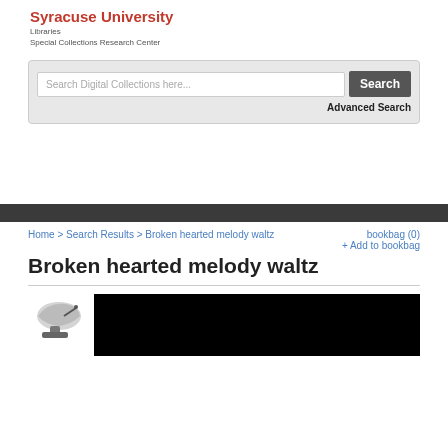Syracuse University Libraries Special Collections Research Center
Search Digital Collections here...
Search
Advanced Search
Home > Search Results > Broken hearted melody waltz
bookbag (0)
+ Add to bookbag
Broken hearted melody waltz
[Figure (photo): Thumbnail image of a gramophone/phonograph and a black rectangular image placeholder]